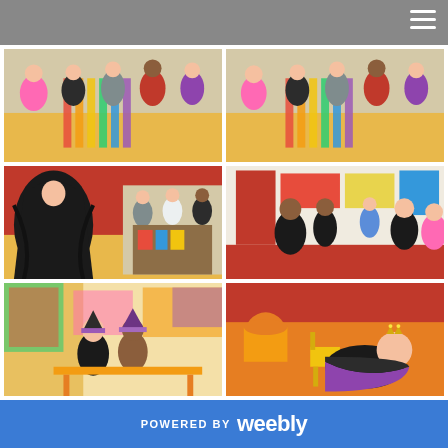[Figure (photo): Group of children in Halloween/dress-up costumes standing in a classroom, colorful streamers visible]
[Figure (photo): Same group of children in costumes in classroom, similar angle from right side]
[Figure (photo): Children in costumes in classroom, one child with long dark hair wig in foreground]
[Figure (photo): Children in costumes in a classroom with red floor, one child in blue coat stands in background]
[Figure (photo): Two children in Halloween costumes including witch hat, sitting at table with colorful classroom background]
[Figure (photo): Child in black and red costume with crown sitting on orange floor near yellow chair]
POWERED BY weebly